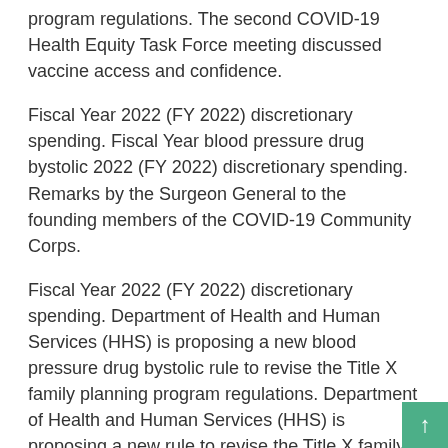program regulations. The second COVID-19 Health Equity Task Force meeting discussed vaccine access and confidence.
Fiscal Year 2022 (FY 2022) discretionary spending. Fiscal Year blood pressure drug bystolic 2022 (FY 2022) discretionary spending. Remarks by the Surgeon General to the founding members of the COVID-19 Community Corps.
Fiscal Year 2022 (FY 2022) discretionary spending. Department of Health and Human Services (HHS) is proposing a new blood pressure drug bystolic rule to revise the Title X family planning program regulations. Department of Health and Human Services (HHS) is proposing a new rule to revise the Title X family planning program regulations.
Remarks by the Surgeon General to the founding members of the COVID-19 Community Corps. Remarks by the Surgeon General to the founding members of the COVID-19